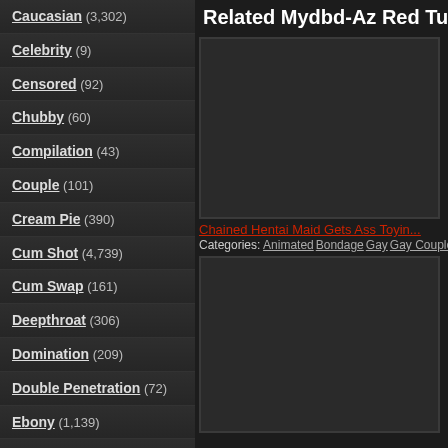Caucasian (3,302)
Celebrity (9)
Censored (92)
Chubby (60)
Compilation (43)
Couple (101)
Cream Pie (390)
Cum Shot (4,739)
Cum Swap (161)
Deepthroat (306)
Domination (209)
Double Penetration (72)
Ebony (1,139)
Enzo & John Mayer (1)
Facial (367)
Fat (45)
Related Mydbd-Az Red Tube HD C
[Figure (screenshot): Dark thumbnail placeholder for video]
Chained Hentai Maid Gets Ass Toyin...
Categories: Animated Bondage Gay Gay Couple
[Figure (screenshot): Dark thumbnail placeholder for second video]